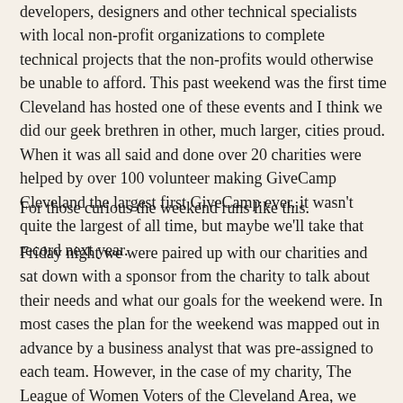developers, designers and other technical specialists with local non-profit organizations to complete technical projects that the non-profits would otherwise be unable to afford. This past weekend was the first time Cleveland has hosted one of these events and I think we did our geek brethren in other, much larger, cities proud. When it was all said and done over 20 charities were helped by over 100 volunteer making GiveCamp Cleveland the largest first GiveCamp ever. it wasn't quite the largest of all time, but maybe we'll take that record next year.
For those curious the weekend runs like this.
Friday night we were paired up with our charities and sat down with a sponsor from the charity to talk about their needs and what our goals for the weekend were. In most cases the plan for the weekend was mapped out in advance by a business analyst that was pre-assigned to each team. However, in the case of my charity, The League of Women Voters of the Cleveland Area, we came it knowing virtually nothing. You see the organizers had anticipated having enough people to help roughly 15 charities, but come the week of the event they had enough to add 7 more. The LWV Cleveland was one of the late additions so we had to scope and